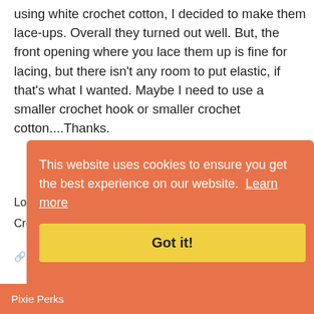using white crochet cotton, I decided to make them lace-ups. Overall they turned out well. But, the front opening where you lace them up is fine for lacing, but there isn't any room to put elastic, if that's what I wanted. Maybe I need to use a smaller crochet hook or smaller crochet cotton....Thanks.
Lola Crocheted Oxfords and Slip-ons
Crochet Pattern
Share   Was this helpful?  👍 1  👎 0
Jeanie  Verified Buyer  09/30/2016
LOVE IT!
ve loved Sweet Pea Fashions designs
[Figure (screenshot): Cookie consent banner with orange background showing text 'This website uses cookies to ensure you get the best experience on our website. Learn more' with a yellow 'Got it!' button, and a 'Pixie Perks' tab in the bottom left corner]